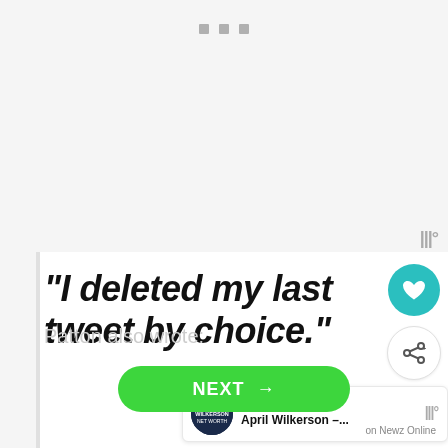[Figure (screenshot): Screenshot of a news/content app interface showing three grey dots at the top, a large bold italic quote card reading "I deleted my last tweet by choice.", social interaction icons (heart and share), a WHAT'S NEXT panel referencing April Wilkerson, a green NEXT button at the bottom, and partially visible text 'Patton also wrote:']
“I deleted my last tweet by choice.”
Patton also wrote:
WHAT'S NEXT → April Wilkerson –...
NEXT →
on Newz Online